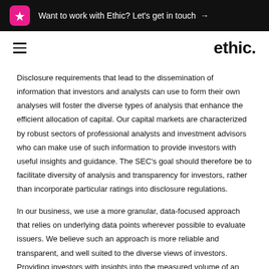Want to work with Ethic? Let's get in touch →
ethic.
Disclosure requirements that lead to the dissemination of information that investors and analysts can use to form their own analyses will foster the diverse types of analysis that enhance the efficient allocation of capital. Our capital markets are characterized by robust sectors of professional analysts and investment advisors who can make use of such information to provide investors with useful insights and guidance. The SEC's goal should therefore be to facilitate diversity of analysis and transparency for investors, rather than incorporate particular ratings into disclosure regulations.
In our business, we use a more granular, data-focused approach that relies on underlying data points wherever possible to evaluate issuers. We believe such an approach is more reliable and transparent, and well suited to the diverse views of investors. Providing investors with insights into the measured volume of an issuer's direct carbon dioxide emissions, water usage, or hazardous waste effluents, for example, is more meaningful than